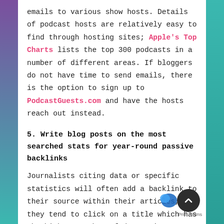emails to various show hosts. Details of podcast hosts are relatively easy to find through hosting sites; Apple's Top Charts lists the top 300 podcasts in a number of different areas. If bloggers do not have time to send emails, there is the option to sign up to PodcastGuests.com and have the hosts reach out instead.
5. Write blog posts on the most searched stats for year-round passive backlinks
Journalists citing data or specific statistics will often add a backlink to their source within their articles, but they tend to click on a title which has the highest number of data points available. (50 Latest Dog Biting Statistics).